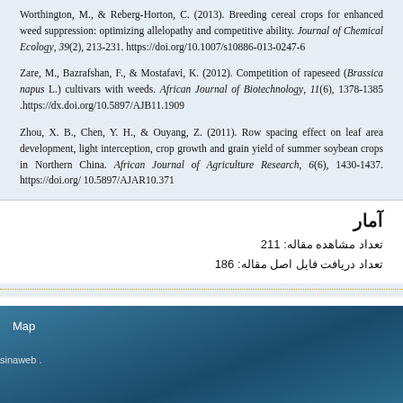Worthington, M., & Reberg-Horton, C. (2013). Breeding cereal crops for enhanced weed suppression: optimizing allelopathy and competitive ability. Journal of Chemical Ecology, 39(2), 213-231. https://doi.org/10.1007/s10886-013-0247-6
Zare, M., Bazrafshan, F., & Mostafavi, K. (2012). Competition of rapeseed (Brassica napus L.) cultivars with weeds. African Journal of Biotechnology, 11(6), 1378-1385 .https://dx.doi.org/10.5897/AJB11.1909
Zhou, X. B., Chen, Y. H., & Ouyang, Z. (2011). Row spacing effect on leaf area development, light interception, crop growth and grain yield of summer soybean crops in Northern China. African Journal of Agriculture Research, 6(6), 1430-1437. https://doi.org/ 10.5897/AJAR10.371
آمار
تعداد مشاهده مقاله: 211
تعداد دریافت فایل اصل مقاله: 186
Map
sinaweb .